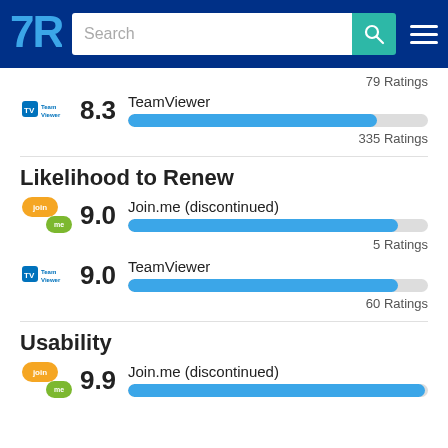TrustRadius navigation bar with search
79 Ratings
TeamViewer 8.3 — 335 Ratings
Likelihood to Renew
Join.me (discontinued) 9.0 — 5 Ratings
TeamViewer 9.0 — 60 Ratings
Usability
Join.me (discontinued) 9.9